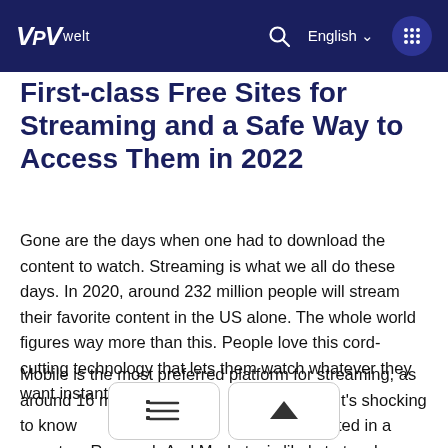VPV welt  English ▾
First-class Free Sites for Streaming and a Safe Way to Access Them in 2022
Gone are the days when one had to download the content to watch. Streaming is what we all do these days. In 2020, around 232 million people will stream their favorite content in the US alone. The whole world figures way more than this. People love this cord-cutting technology that lets them watch whatever they want instantly.
Mobile is the most preferred platform for streaming, as around 16 minutes... done on it. It's shocking to know...industry, as stated in a report on Research And Markets, is likely to touch